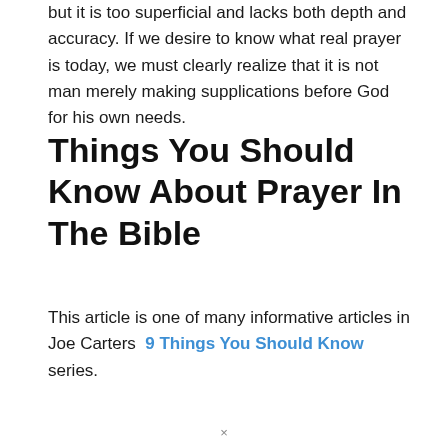but it is too superficial and lacks both depth and accuracy. If we desire to know what real prayer is today, we must clearly realize that it is not man merely making supplications before God for his own needs.
Things You Should Know About Prayer In The Bible
This article is one of many informative articles in Joe Carters  9 Things You Should Know  series.
×